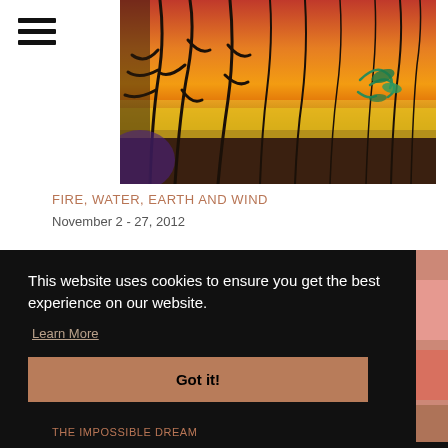[Figure (photo): Artwork image showing stylized dark tree branches against orange and yellow background with teal/green plant accent, for exhibition 'Fire, Water, Earth and Wind']
FIRE, WATER, EARTH AND WIND
November 2 - 27, 2012
This website uses cookies to ensure you get the best experience on our website.
Learn More
Got it!
[Figure (photo): Partially visible artwork image for second exhibition, pink/colorful tones visible on right edge]
THE IMPOSSIBLE DREAM